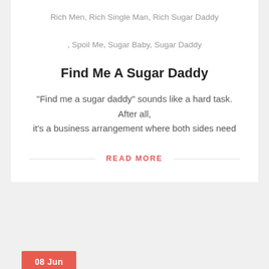Rich Men, Rich Single Man, Rich Sugar Daddy
, Spoil Me, Sugar Baby, Sugar Daddy
Find Me A Sugar Daddy
“Find me a sugar daddy” sounds like a hard task. After all, it’s a business arrangement where both sides need
READ MORE
08 Jun